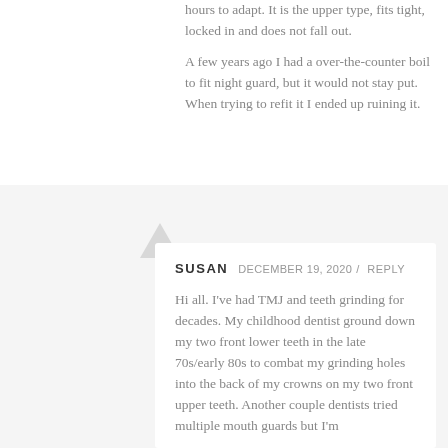hours to adapt. It is the upper type, fits tight, locked in and does not fall out. A few years ago I had a over-the-counter boil to fit night guard, but it would not stay put. When trying to refit it I ended up ruining it.
SUSAN  DECEMBER 19, 2020 / REPLY
Hi all. I've had TMJ and teeth grinding for decades. My childhood dentist ground down my two front lower teeth in the late 70s/early 80s to combat my grinding holes into the back of my crowns on my two front upper teeth. Another couple dentists tried multiple mouth guards but I'm